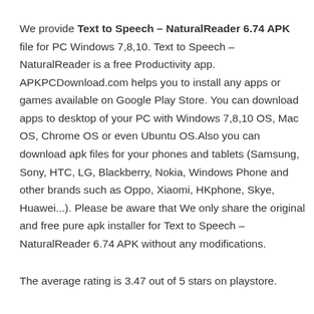We provide Text to Speech – NaturalReader 6.74 APK file for PC Windows 7,8,10. Text to Speech – NaturalReader is a free Productivity app. APKPCDownload.com helps you to install any apps or games available on Google Play Store. You can download apps to desktop of your PC with Windows 7,8,10 OS, Mac OS, Chrome OS or even Ubuntu OS.Also you can download apk files for your phones and tablets (Samsung, Sony, HTC, LG, Blackberry, Nokia, Windows Phone and other brands such as Oppo, Xiaomi, HKphone, Skye, Huawei...). Please be aware that We only share the original and free pure apk installer for Text to Speech – NaturalReader 6.74 APK without any modifications.
The average rating is 3.47 out of 5 stars on playstore.